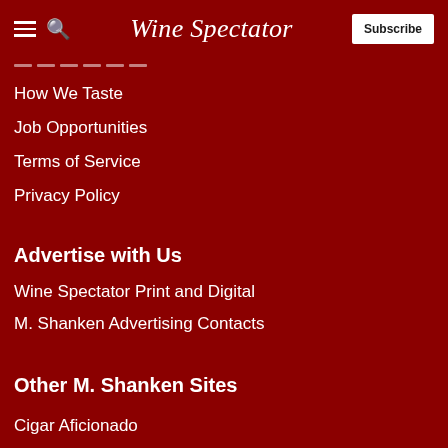Wine Spectator — Subscribe
How We Taste
Job Opportunities
Terms of Service
Privacy Policy
Advertise with Us
Wine Spectator Print and Digital
M. Shanken Advertising Contacts
Other M. Shanken Sites
Cigar Aficionado